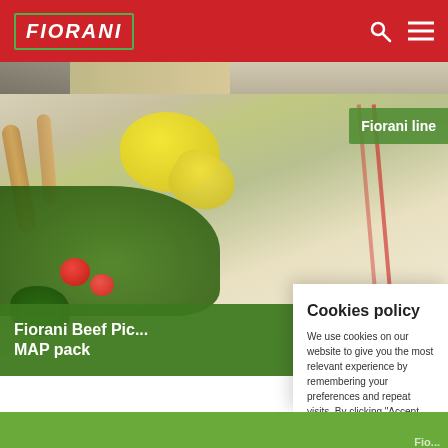[Figure (screenshot): Fiorani website header with red background, Fiorani logo in green-bordered box, search icon and hamburger menu icon in white]
[Figure (photo): Food background image showing salad with tomatoes, lemons, and herbs on a marble surface with green label 'Fiorani line' on right]
Fiorani Beef Pic... MAP pack
Cookies policy
We use cookies on our website to give you the most relevant experience by remembering your preferences and repeat visits. By clicking "Accept All", you consent to the use of ALL the cookies. However, you may visit "Cookie Settings" to provide a controlled consent.
Cookie Settings
Accept All